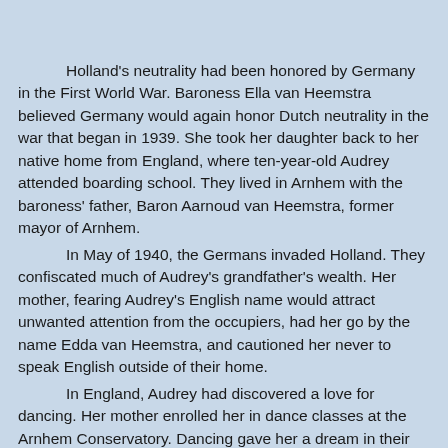Holland's neutrality had been honored by Germany in the First World War. Baroness Ella van Heemstra believed Germany would again honor Dutch neutrality in the war that began in 1939. She took her daughter back to her native home from England, where ten-year-old Audrey attended boarding school. They lived in Arnhem with the baroness' father, Baron Aarnoud van Heemstra, former mayor of Arnhem.

In May of 1940, the Germans invaded Holland. They confiscated much of Audrey's grandfather's wealth. Her mother, fearing Audrey's English name would attract unwanted attention from the occupiers, had her go by the name Edda van Heemstra, and cautioned her never to speak English outside of their home.

In England, Audrey had discovered a love for dancing. Her mother enrolled her in dance classes at the Arnhem Conservatory. Dancing gave her a dream in their austere life.